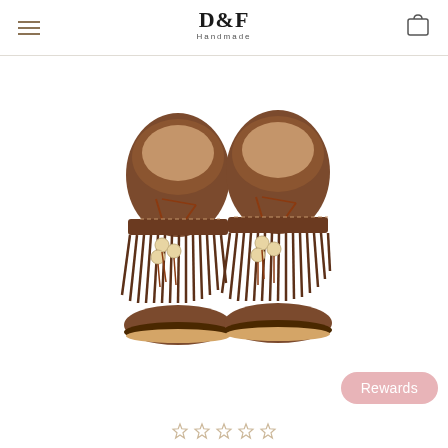D&F Handmade
[Figure (photo): A pair of brown leather children's fringe moccasin boots with beaded decorations, viewed from above on a white background]
Rewards